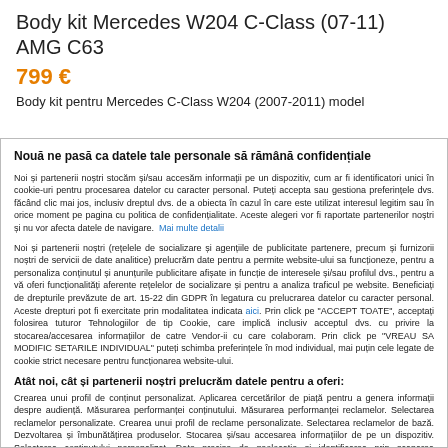Body kit Mercedes W204 C-Class (07-11) AMG C63
799 €
Body kit pentru Mercedes C-Class W204 (2007-2011) model
Nouă ne pasă ca datele tale personale să rămână confidențiale
Noi și partenerii noștri stocăm și/sau accesăm informații pe un dispozitiv, cum ar fi identificatori unici în cookie-uri pentru procesarea datelor cu caracter personal. Puteți accepta sau gestiona preferințele dvs. făcând clic mai jos, inclusiv dreptul dvs. de a obiecta în cazul în care este utilizat interesul legitim sau în orice moment pe pagina cu politica de confidențialitate. Aceste alegeri vor fi raportate partenerilor noștri și nu vor afecta datele de navigare. Mai multe detalii
Noi și partenerii noștri (rețelele de socializare și agențiile de publicitate partenere, precum și furnizorii noștri de servicii de date analitice) prelucrăm date pentru a permite website-ului să funcționeze, pentru a personaliza conținutul și anunțurile publicitare afișate în funcție de interesele și/sau profilul dvs., pentru a vă oferi funcționalități aferente rețelelor de socializare și pentru a analiza traficul pe website. Beneficiați de drepturile prevăzute de art. 15-22 din GDPR în legătura cu prelucrarea datelor cu caracter personal. Aceste drepturi pot fi exercitate prin modalitatea indicata aici. Prin click pe "ACCEPT TOATE", acceptați folosirea tuturor Tehnologiilor de tip Cookie, care implică inclusiv acceptul dvs. cu privire la stocarea/accesarea informațiilor de catre Vendor-ii cu care colaboram. Prin click pe "VREAU SA MODIFIC SETARILE INDIVIDUAL" puteți schimba preferințele în mod individual, mai puțin cele legate de cookie strict necesare pentru funcționarea website-ului.
Atât noi, cât și partenerii noștri prelucrăm datele pentru a oferi:
Crearea unui profil de conținut personalizat. Aplicarea cercetărilor de piață pentru a genera informații despre audiență. Măsurarea performanței conținutului. Măsurarea performanței reclamelor. Selectarea reclamelor personalizate. Crearea unui profil de reclame personalizate. Selectarea reclamelor de bază. Dezvoltarea și îmbunătățirea produselor. Stocarea și/sau accesarea informațiilor de pe un dispozitiv. Selectarea conținutului personalizat. Date precise de geolocație și identificarea prin scanarea dispozitivului.
Listă parteneri (furnizori)
ACCEPT TOATE
VREAU SA MODIFIC SETARILE INDIVIDUAL